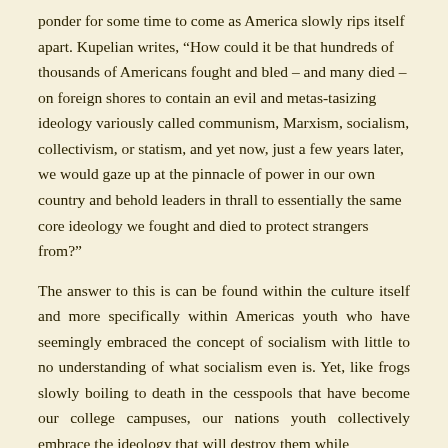ponder for some time to come as America slowly rips itself apart. Kupelian writes, “How could it be that hundreds of thousands of Americans fought and bled – and many died – on foreign shores to contain an evil and metas-tasizing ideology variously called communism, Marxism, socialism, collectivism, or statism, and yet now, just a few years later, we would gaze up at the pinnacle of power in our own country and behold leaders in thrall to essentially the same core ideology we fought and died to protect strangers from?”
The answer to this is can be found within the culture itself and more specifically within Americas youth who have seemingly embraced the concept of socialism with little to no understanding of what socialism even is. Yet, like frogs slowly boiling to death in the cesspools that have become our college campuses, our nations youth collectively embrace the ideology that will destroy them while